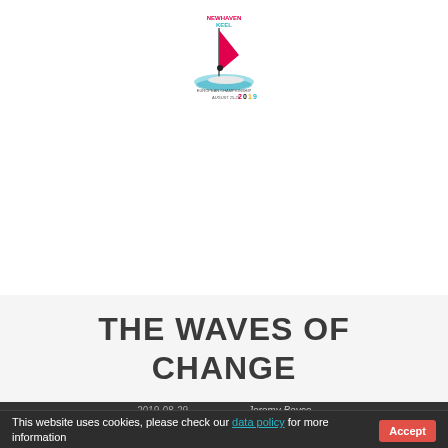[Figure (logo): Sailing event logo with windsurfer graphic, text reading 'NEWHAVEN KEEL European Championship August 25-29 2019']
THE WAVES OF CHANGE
2019-08-29   Jeremy Boyce
Safety Ballot
This website uses cookies, please check our data policy for more information
Accept